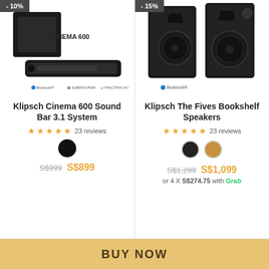[Figure (photo): Product listing page showing two Klipsch audio products side by side with discount badges, product images, ratings, color swatches, prices, and a Buy Now button at the bottom.]
- 10%
- 15%
Klipsch Cinema 600 Sound Bar 3.1 System
23 reviews
S$999  S$899
Klipsch The Fives Bookshelf Speakers
23 reviews
S$1,299  S$1,099
or 4 X S$274.75 with Grab
BUY NOW